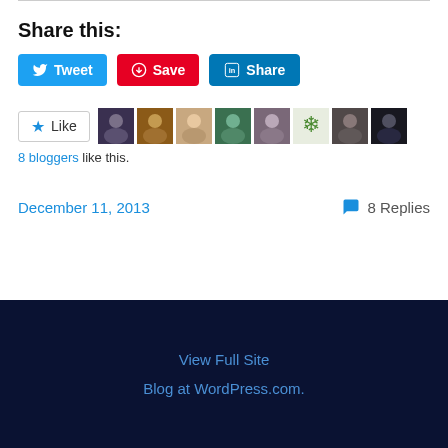Share this:
[Figure (other): Social sharing buttons: Tweet (Twitter/blue), Save (Pinterest/red), Share (LinkedIn/blue)]
[Figure (other): Like button with star icon and 8 blogger avatar thumbnails]
8 bloggers like this.
December 11, 2013    8 Replies
View Full Site
Blog at WordPress.com.